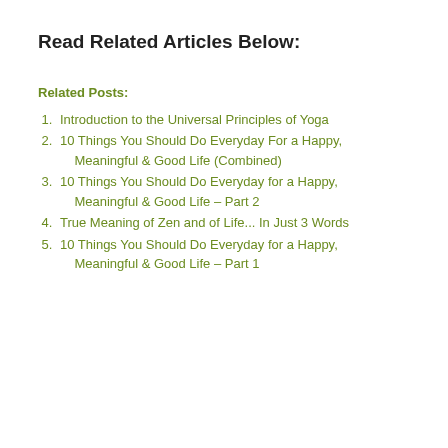Read Related Articles Below:
Related Posts:
Introduction to the Universal Principles of Yoga
10 Things You Should Do Everyday For a Happy, Meaningful & Good Life (Combined)
10 Things You Should Do Everyday for a Happy, Meaningful & Good Life – Part 2
True Meaning of Zen and of Life... In Just 3 Words
10 Things You Should Do Everyday for a Happy, Meaningful & Good Life – Part 1